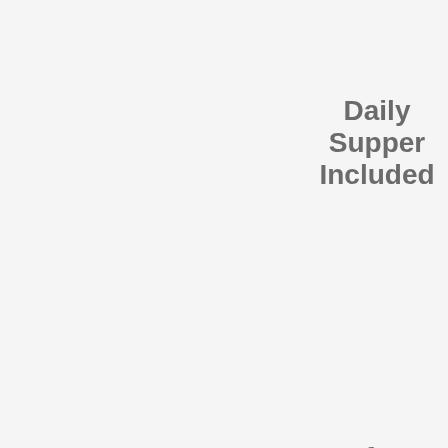Daily Supper Included
After School Transportation Available for Eligible Bus Riders
Registration